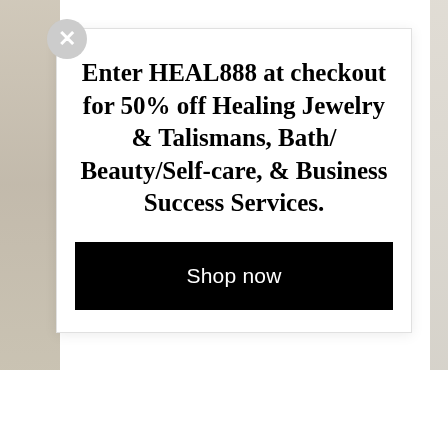[Figure (screenshot): A promotional popup/modal overlay on a webpage. The background shows faint beige/stone-colored image strips on left and right sides. A white modal box contains bold promotional text and a black 'Shop now' button. A grey circular close button (×) appears in the top-left corner of the modal.]
Enter HEAL888 at checkout for 50% off Healing Jewelry & Talismans, Bath/ Beauty/Self-care, & Business Success Services.
Shop now